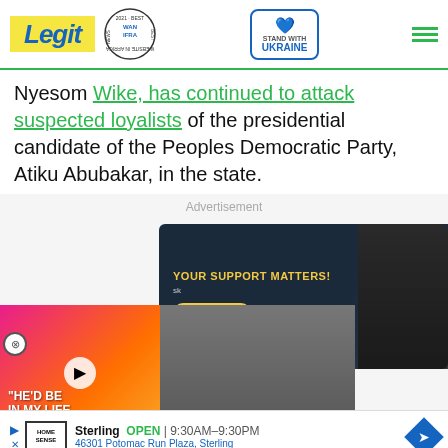Legit — WAN-IFRA 2021 Best News Website in Africa — Stand with Ukraine
Nyesom Wike, has continued to attack suspected loyalists of the presidential candidate of the Peoples Democratic Party, Atiku Abubakar, in the state.
Advertisement
[Figure (screenshot): Advertisement: 'YOUR SUPPORT MATTERS!' donation banner with 'Donate now!' button and dark background. Overlapping video ad showing two people with text 'HE'D BE IN MY LIFE FOREVER'. Bottom ad for Sterling store: OPEN 9:30AM-9:30PM, 46301 Potomac Run Plaza, Sterling. Home Sense logo visible.]